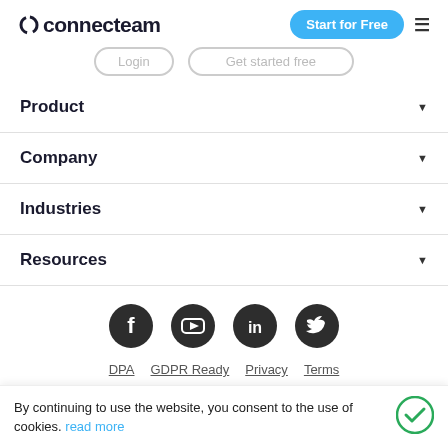connecteam — Start for Free
Product ▼
Company ▼
Industries ▼
Resources ▼
[Figure (illustration): Social media icons row: Facebook, YouTube, LinkedIn, Twitter (dark circle icons)]
DPA   GDPR Ready   Privacy   Terms
By continuing to use the website, you consent to the use of cookies. read more